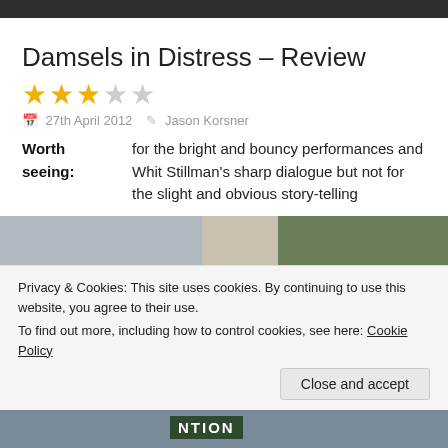Damsels in Distress – Review
3 out of 5 stars
27th April 2012   Jason Korsner
Worth seeing:   for the bright and bouncy performances and Whit Stillman's sharp dialogue but not for the slight and obvious story-telling
[Figure (photo): Scene from Damsels in Distress showing a character near a sign reading CENTER]
Privacy & Cookies: This site uses cookies. By continuing to use this website, you agree to their use.
To find out more, including how to control cookies, see here: Cookie Policy
Close and accept
[Figure (photo): Bottom strip photo showing sign with letters NTION visible]